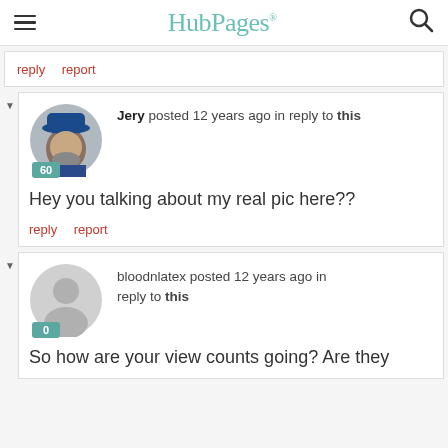HubPages
reply   report
Jery posted 12 years ago in reply to this
Hey you talking about my real pic here??
reply   report
bloodnlatex posted 12 years ago in reply to this
So how are your view counts going? Are they